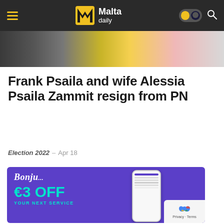Malta Daily
[Figure (photo): Partial photo strip showing people, yellow and pink tones]
Frank Psaila and wife Alessia Psaila Zammit resign from PN
Election 2022 – Apr 18
[Figure (screenshot): Bonju app advertisement banner: €3 OFF YOUR NEXT SERVICE, purple background with phone mockup]